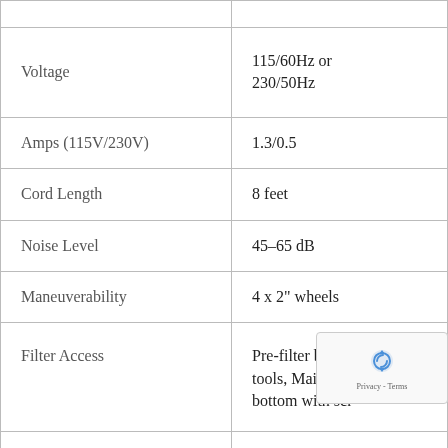| Property | Value |
| --- | --- |
|  |  |
| Voltage | 115/60Hz or 230/50Hz |
| Amps (115V/230V) | 1.3/0.5 |
| Cord Length | 8 feet |
| Noise Level | 45–65 dB |
| Maneuverability | 4 x 2" wheels |
| Filter Access | Pre-filter bottom no tools, Main filters bottom with scr |
| Motor Details | Motor with a |